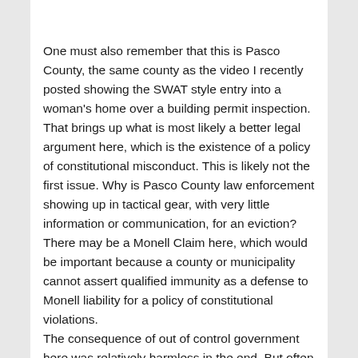One must also remember that this is Pasco County, the same county as the video I recently posted showing the SWAT style entry into a woman's home over a building permit inspection. That brings up what is most likely a better legal argument here, which is the existence of a policy of constitutional misconduct. This is likely not the first issue. Why is Pasco County law enforcement showing up in tactical gear, with very little information or communication, for an eviction? There may be a Monell Claim here, which would be important because a county or municipality cannot assert qualified immunity as a defense to Monell liability for a policy of constitutional violations.
The consequence of out of control government here was relatively harmless in the end. But often it's not. Similar mistakes are often made, with tragic results. When law enforcement forcibly enters someone's home, they do so with firearms, which often are used against occupants – either human or canine. Because, they have to get home